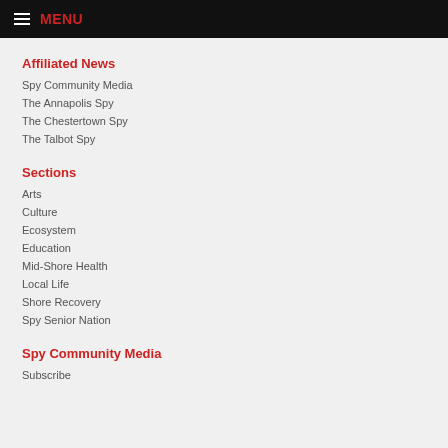MENU
Affiliated News
Spy Community Media
The Annapolis Spy
The Chestertown Spy
The Talbot Spy
Sections
Arts
Culture
Ecosystem
Education
Mid-Shore Health
Local Life
Shore Recovery
Spy Senior Nation
Spy Community Media
Subscribe